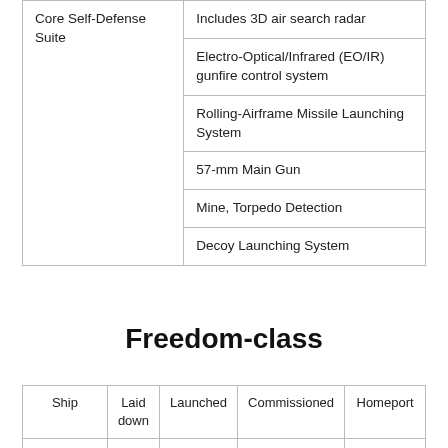|  |  |
| --- | --- |
| Core Self-Defense Suite | Includes 3D air search radar |
|  | Electro-Optical/Infrared (EO/IR) gunfire control system |
|  | Rolling-Airframe Missile Launching System |
|  | 57-mm Main Gun |
|  | Mine, Torpedo Detection |
|  | Decoy Launching System |
Freedom-class
| Ship | Laid down | Launched | Commissioned | Homeport |
| --- | --- | --- | --- | --- |
| USS Freedom | 06- | 09-23- | 11-08-2008 | San Diego, |